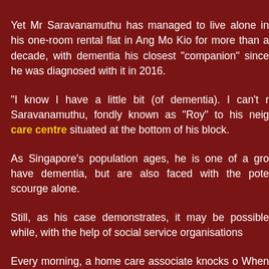Yet Mr Saravanamuthu has managed to live alone in his one-room rental flat in Ang Mo Kio for more than a decade, with dementia his closest "companion" since he was diagnosed with it in 2016.
"I know I have a little bit (of dementia). I can't r... Saravanamuthu, fondly known as "Roy" to his neig... care centre situated at the bottom of his block.
As Singapore's population ages, he is one of a gro... have dementia, but are also faced with the pote... scourge alone.
Still, as his case demonstrates, it may be possible ... while, with the help of social service organisations...
Every morning, a home care associate knocks o... When he opens the door, she reminds him to b...